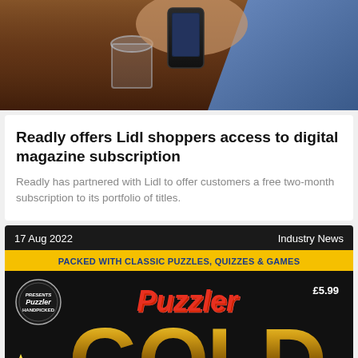[Figure (photo): Photo of hands holding a smartphone over a wooden table with a glass, blue fabric visible in background]
Readly offers Lidl shoppers access to digital magazine subscription
Readly has partnered with Lidl to offer customers a free two-month subscription to its portfolio of titles.
17 Aug 2022
Industry News
[Figure (photo): Puzzler Gold magazine cover with yellow banner reading PACKED WITH CLASSIC PUZZLES, QUIZZES & GAMES, Puzzler logo in red italic text, price £5.99, and large gold 3D GOLD lettering on black background]